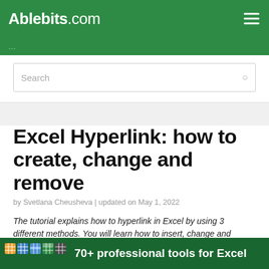Ablebits.com
Search
Excel Hyperlink: how to create, change and remove
by Svetlana Cheusheva | updated on May 1, 2022
The tutorial explains how to hyperlink in Excel by using 3 different methods. You will learn how to insert, change and remove hyperlinks in your worksheets and now to fix non-working links.
Hyperlinks are widely used on the Internet to navigate
70+ professional tools for Excel